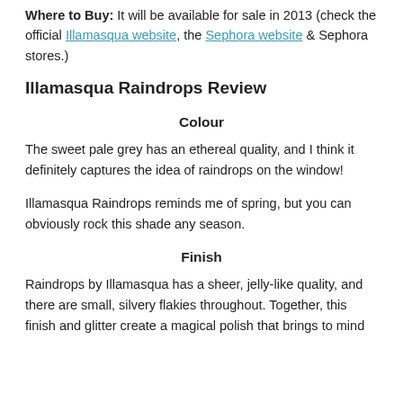Where to Buy: It will be available for sale in 2013 (check the official Illamasqua website, the Sephora website & Sephora stores.)
Illamasqua Raindrops Review
Colour
The sweet pale grey has an ethereal quality, and I think it definitely captures the idea of raindrops on the window!
Illamasqua Raindrops reminds me of spring, but you can obviously rock this shade any season.
Finish
Raindrops by Illamasqua has a sheer, jelly-like quality, and there are small, silvery flakies throughout. Together, this finish and glitter create a magical polish that brings to mind